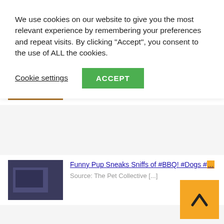We use cookies on our website to give you the most relevant experience by remembering your preferences and repeat visits. By clicking "Accept", you consent to the use of ALL the cookies.
Cookie settings
ACCEPT
This raccoon embodies the "don't let them [...]
These Dogs Are So Funny, You Won't Be Able to Stop Laughing| Pets Town
#PetsTown #Pets #Funnyvideos #dog These Dogs Are So [...]
Funny Pup Sneaks Sniffs of #BBQ! #Dogs #...
Source: The Pet Collective [...]